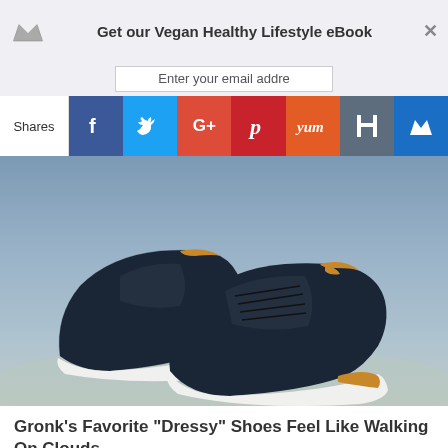Get our Vegan Healthy Lifestyle eBook
Enter your email addre
Shares  f  Twitter  G+  Pinterest  Yum  M  Crown
[Figure (photo): Two dark navy blue sneakers with tan leather collar trim and white soles, displayed on a light blue/grey background. The shoes are lace-up casual/dressy style.]
Gronk's Favorite "Dressy" Shoes Feel Like Walking On Clouds